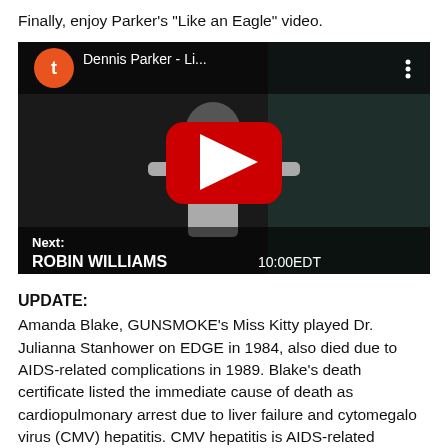Finally, enjoy Parker's "Like an Eagle" video.
[Figure (screenshot): YouTube video thumbnail showing Dennis Parker - Li... with a red play button in the center. A dark video frame shows a performer in a silver outfit. Bottom text reads 'Next: ROBIN WILLIAMS 10:00EDT'. Top left shows an orange circle with letter 't' and the title 'Dennis Parker - Li...' with a three-dot menu icon.]
UPDATE:
Amanda Blake, GUNSMOKE's Miss Kitty played Dr. Julianna Stanhower on EDGE in 1984, also died due to AIDS-related complications in 1989. Blake's death certificate listed the immediate cause of death as cardiopulmonary arrest due to liver failure and cytomegalo virus (CMV) hepatitis. CMV hepatitis is AIDS-related according to Sacramento internist Dr. Lou Nishimura. The AIDS virus was thought to have been